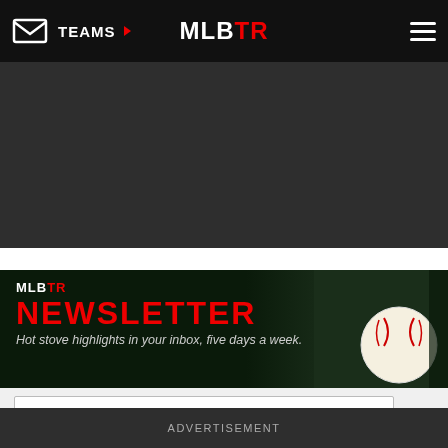TEAMS ▶   MLBTR   ≡
[Figure (screenshot): Dark grey banner/advertisement area]
[Figure (infographic): MLBTR Newsletter banner with baseball glove and baseball imagery. Text: MLBTR NEWSLETTER. Hot stove highlights in your inbox, five days a week.]
Email address
ADVERTISEMENT